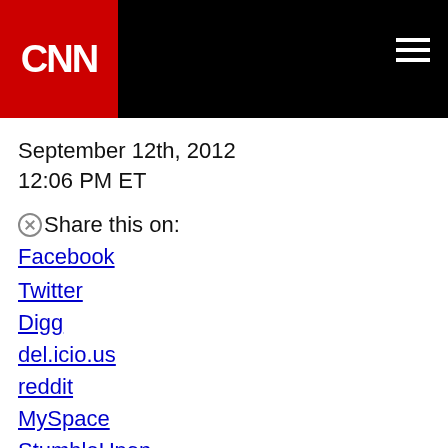CNN | Home +
September 12th, 2012
12:06 PM ET
Share this on:
Facebook
Twitter
Digg
del.icio.us
reddit
MySpace
StumbleUpon
Ambassador's killing shines Muslim sensitivities around